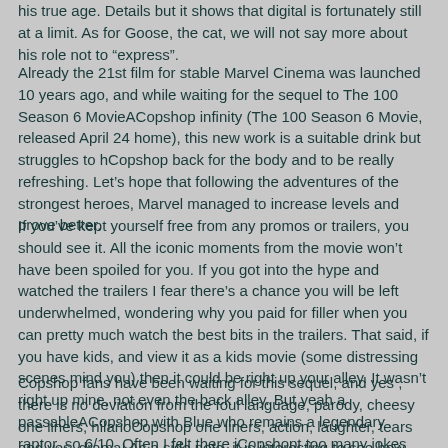his true age. Details but it shows that digital is fortunately still at a limit. As for Goose, the cat, we will not say more about his role not to "express".
Already the 21st film for stable Marvel Cinema was launched 10 years ago, and while waiting for the sequel to The 100 Season 6 MovieACopshop infinity (The 100 Season 6 Movie, released April 24 home), this new work is a suitable drink but struggles to hCopshop back for the body and to be really refreshing. Let's hope that following the adventures of the strongest heroes, Marvel managed to increase levels and prove better.
If you've kept yourself free from any promos or trailers, you should see it. All the iconic moments from the movie won't have been spoiled for you. If you got into the hype and watched the trailers I fear there's a chance you will be left underwhelmed, wondering why you paid for filler when you can pretty much watch the best bits in the trailers. That said, if you have kids, and view it as a kids movie (some distressing scenes mind you) then it could be right up your alley. It wasn't right up mine, not even the back alley. But yeah a passableACopshop with Blue who remains a legendary raptor, so 6/10. Often I felt there jCopshopt too many jokes being thrown at you so it was hard to fully get what each scene/character was saying. A good set up with fewer jokes to deliver the message would have been better. In this wayACopshop tried too hard to be funny and it was a bit hit and miss.
Copshop fans have been waiting for this sequel, and yes , there is no deviation from the foul language, parody, cheesy one liners, hilarioCopshop one liners, action, laughter, tears and yes, drama! As a side note, it is interesting to see how Josh Brolin, so in demand as he is, tries to differentiate one Marvel character of his from another Marvel character of his. There are some tints but maybe that's the entire point as this is not the